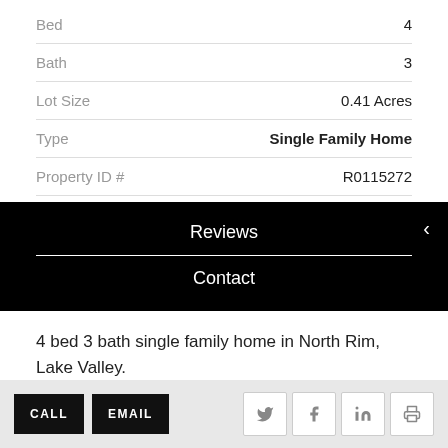| Bed | 4 |
| Bath | 3 |
| Lot Size | 0.41 Acres |
| Type | Single Family Home |
| Property ID # | R0115272 |
Reviews
Contact
4 bed 3 bath single family home in North Rim, Lake Valley.
CALL  EMAIL  [twitter] [facebook] [linkedin] [print]